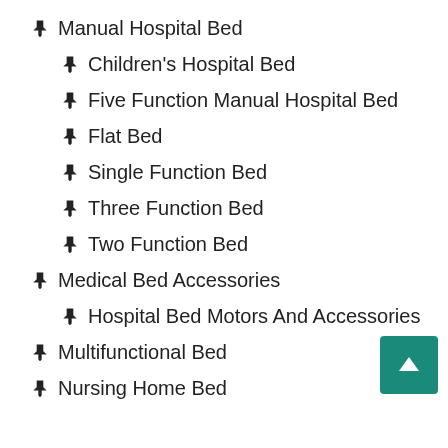Manual Hospital Bed
Children's Hospital Bed
Five Function Manual Hospital Bed
Flat Bed
Single Function Bed
Three Function Bed
Two Function Bed
Medical Bed Accessories
Hospital Bed Motors And Accessories
Multifunctional Bed
Nursing Home Bed